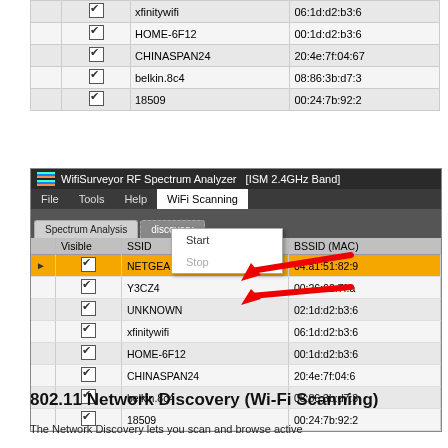[Figure (screenshot): Top partial screenshot of WifiSurveyor table showing network rows: xfinitywifi (06:1d:d2:b3:6...), HOME-6F12 (00:1d:d2:b3:6...), CHINASPAN24 (20:4e:7f:04:67...), belkin.8c4 (08:86:3b:d7:3...), 18509 (00:24:7b:92:2...). All have checkboxes checked.]
[Figure (screenshot): WifiSurveyor RF Spectrum Analyzer [ISM 2.4GHz Band] window screenshot showing WiFi Scanning dropdown menu with Start and Stop options, with red arrows pointing to Start and Stop. Network list table includes NETGEAR53 (highlighted orange, 04:a1:51:82:9...), Y3CZ4 (00:26:62:7f:a...), UNKNOWN (02:1d:d2:b3:6...), xfinitywifi (06:1d:d2:b3:6...), HOME-6F12 (00:1d:d2:b3:6...), CHINASPAN24 (20:4e:7f:04:6...), belkin.8c4 (08:86:3b:d7:3...), 18509 (00:24:7b:92:2...).]
802.11 Network Discovery (Wi-Fi Scanning)
The Network Discovery lets you scan and browse active...